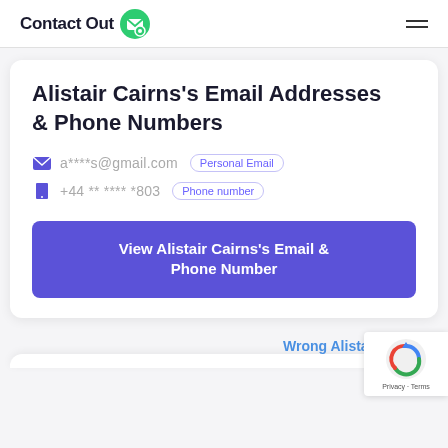ContactOut
Alistair Cairns's Email Addresses & Phone Numbers
a****s@gmail.com  Personal Email
+44 ** **** *803  Phone number
View Alistair Cairns's Email & Phone Number
Wrong Alistair Cairns?